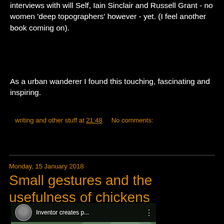interviews with will Self, Iain Sinclair and Russell Grant - no women 'deep topographers' however - yet. (I feel another book coming on).
As a urban wanderer I found this touching, fascinating and inspiring.
writing and other stuff at 21:48    No comments:
Share
Monday, 15 January 2018
Small gestures and the usefulness of chickens
[Figure (screenshot): YouTube video thumbnail showing 'Inventor creates p...' with a circular avatar of a bearded man, and a video scene of a person outdoors with trees, with a red YouTube play button overlay]